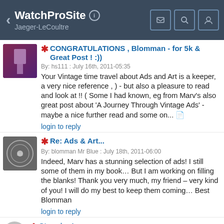WatchProSite — Jaeger-LeCoultre
❋ CONGRATULATIONS , Blomman - for 5k & Great Post ! :))
By: hs111 : July 16th, 2011-05:35
Your Vintage time travel about Ads and Art is a keeper, a very nice reference , ) - but also a pleasure to read and look at !! ( Some I had known, eg from Marv's also great post about 'A Journey Through Vintage Ads' - maybe a nice further read and some on... 📄
login to reply
❋ Re: Ads & Art...
By: blomman Mr Blue : July 18th, 2011-06:00
Indeed, Marv has a stunning selection of ads! I still some of them in my book… But I am working on filling the blanks! Thank you very much, my friend – very kind of you! I will do my best to keep them coming… Best Blomman
login to reply
❋ Stunning!
By: Le Chef : July 16th, 2011-07:34